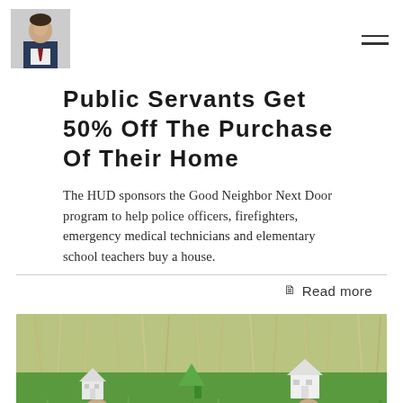[Logo: realtor photo] [Hamburger menu icon]
Public Servants Get 50% Off The Purchase Of Their Home
The HUD sponsors the Good Neighbor Next Door program to help police officers, firefighters, emergency medical technicians and elementary school teachers buy a house.
Read more
[Figure (photo): Person sitting in a grassy field holding up paper cutout house shapes with both hands]